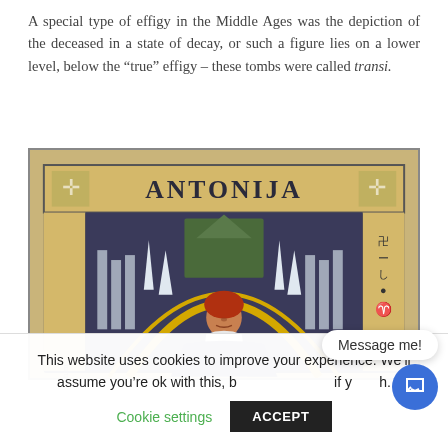A special type of effigy in the Middle Ages was the depiction of the deceased in a state of decay, or such a figure lies on a lower level, below the “true” effigy – these tombs were called transi.
[Figure (illustration): Medieval illuminated manuscript-style illustration showing a figure with red hair, centered beneath an architectural arch with towers and Gothic decorative elements. The text 'ANTONIJA' appears across the top in stylized Gothic lettering with cross symbols on either side. Vertical text appears on the left and right margins.]
This website uses cookies to improve your experience. We’ll assume you’re ok with this, b[ut you can opt-out] if y[ou wi]sh.
Cookie settings   ACCEPT